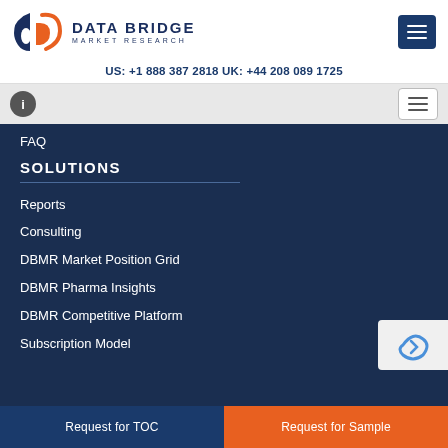[Figure (logo): Data Bridge Market Research logo with orange and navy 'd' icon and brand text]
US: +1 888 387 2818 UK: +44 208 089 1725
FAQ
SOLUTIONS
Reports
Consulting
DBMR Market Position Grid
DBMR Pharma Insights
DBMR Competitive Platform
Subscription Model
Request for TOC
Request for Sample